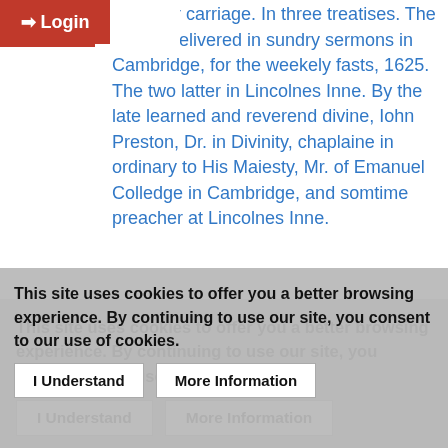Login
tie in her carriage. In three treatises. The former delivered in sundry sermons in Cambridge, for the weekely fasts, 1625. The two latter in Lincolnes Inne. By the late learned and reverend divine, Iohn Preston, Dr. in Divinity, chaplaine in ordinary to His Maiesty, Mr. of Emanuel Colledge in Cambridge, and somtime preacher at Lincolnes Inne.
Date of publication:
1638
Author(s):
Preston, John, 1587-1628. ; Glover, George, b. ca. 1618, engraver. ; Goodwin, Thomas, 1600-1680. ;
This site uses cookies to offer you a better browsing experience. By continuing to use our site, you consent to our use of cookies.
I Understand
More Information